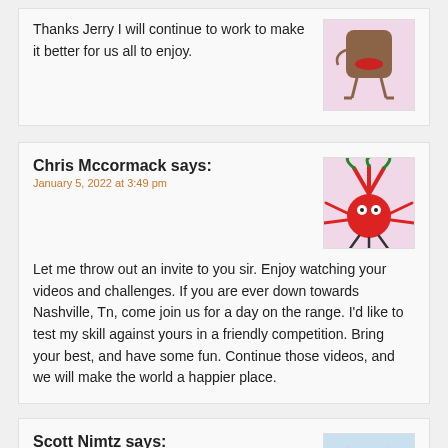Thanks Jerry I will continue to work to make it better for us all to enjoy.
[Figure (illustration): Cartoon avatar of a brown rectangular character with red lips and stick legs on pink background]
Chris Mccormack says:
January 5, 2022 at 3:49 pm
[Figure (illustration): Cartoon avatar of a red spiky creature with googly eyes and green tentacles on pink background]
Let me throw out an invite to you sir. Enjoy watching your videos and challenges. If you are ever down towards Nashville, Tn, come join us for a day on the range. I'd like to test my skill against yours in a friendly competition. Bring your best, and have some fun. Continue those videos, and we will make the world a happier place.
Scott Nimtz says:
January 13, 2022 at 2:09 pm
[Figure (illustration): Cartoon avatar of a red bat-like creature with spiral eyes and fangs on light blue background]
Semper Fi DevilDog! Enjoyed the video. You earned a toilet seat 🚽!